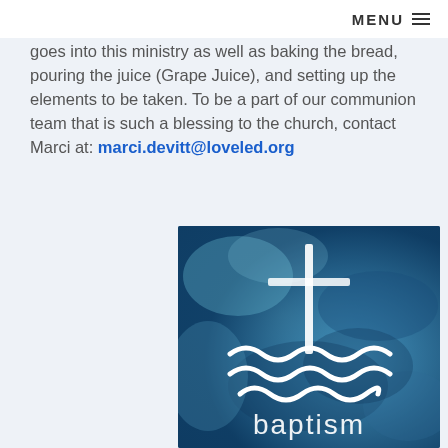MENU ≡
goes into this ministry as well as baking the bread, pouring the juice (Grape Juice), and setting up the elements to be taken. To be a part of our communion team that is such a blessing to the church, contact Marci at: marci.devitt@loveled.org
[Figure (illustration): Blue watercolor background with a white cross symbol and wavy water lines below it, with the word 'baptism' in white text at the bottom]